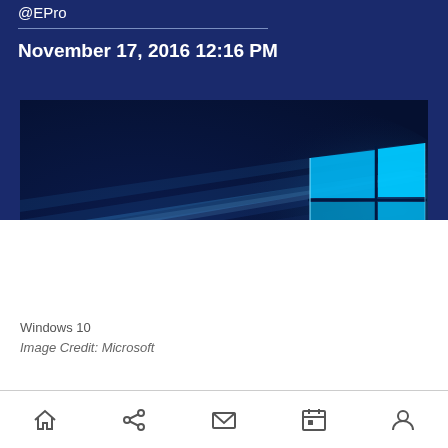@EPro
November 17, 2016 12:16 PM
[Figure (screenshot): Windows 10 default wallpaper showing blue light streaks on dark blue background with the Windows logo (four-pane window) glowing in cyan/white on the right side]
Windows 10
Image Credit: Microsoft
Home | Share | Mail | Calendar | Person icons navigation bar